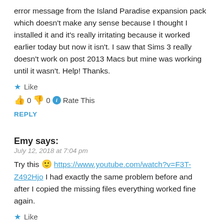error message from the Island Paradise expansion pack which doesn't make any sense because I thought I installed it and it's really irritating because it worked earlier today but now it isn't. I saw that Sims 3 really doesn't work on post 2013 Macs but mine was working until it wasn't. Help! Thanks.
★ Like
👍 0 👎 0 ℹ Rate This
REPLY
Emy says:
July 12, 2018 at 7:04 pm
Try this 🙂 https://www.youtube.com/watch?v=F3T-Z492Hjo I had exactly the same problem before and after I copied the missing files everything worked fine again.
★ Like
👍 0 👎 0 ℹ Rate This